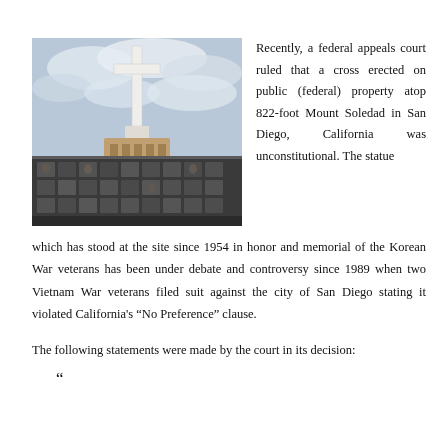[Figure (photo): Photo of a large white cross atop Mount Soledad, with a stone memorial wall covered in portrait plaques below it, under a cloudy sky.]
Recently, a federal appeals court ruled that a cross erected on public (federal) property atop 822-foot Mount Soledad in San Diego, California was unconstitutional. The statue which has stood at the site since 1954 in honor and memorial of the Korean War veterans has been under debate and controversy since 1989 when two Vietnam War veterans filed suit against the city of San Diego stating it violated California’s “No Preference” clause.
The following statements were made by the court in its decision:
““